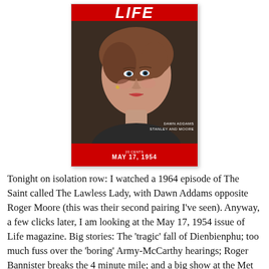[Figure (photo): Cover of LIFE magazine, May 17, 1954, featuring Dawn Addams. The cover shows a young woman with short auburn hair, wearing a dark jacket, against a dark background. A red banner runs across the bottom with the date and price. The LIFE logo appears at the top in red italic letters.]
Tonight on isolation row: I watched a 1964 episode of The Saint called The Lawless Lady, with Dawn Addams opposite Roger Moore (this was their second pairing I've seen). Anyway, a few clicks later, I am looking at the May 17, 1954 issue of Life magazine. Big stories: The 'tragic' fall of Dienbienphu; too much fuss over the 'boring' Army-McCarthy hearings; Roger Bannister breaks the 4 minute mile; and a big show at the Met with Sargent, Whistler & Mary Cassatt (in case you thought Cassatt has been ignored until